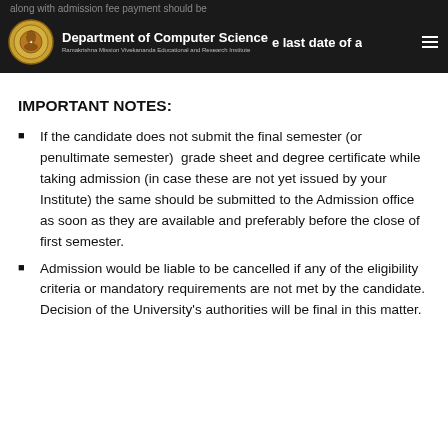along with admission fee payment should be ... the last date of admission
IMPORTANT NOTES:
If the candidate does not submit the final semester (or penultimate semester)  grade sheet and degree certificate while taking admission (in case these are not yet issued by your Institute) the same should be submitted to the Admission office as soon as they are available and preferably before the close of first semester.
Admission would be liable to be cancelled if any of the eligibility criteria or mandatory requirements are not met by the candidate. Decision of the University's authorities will be final in this matter.